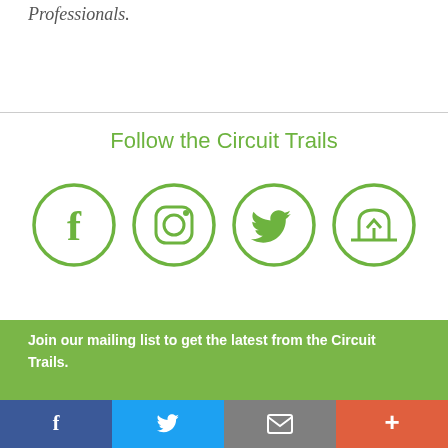Professionals.
Follow the Circuit Trails
[Figure (illustration): Four circular social media icons in green: Facebook (f), Instagram (camera), Twitter (bird), and a fourth icon (Nextdoor or similar app logo)]
Join our mailing list to get the latest from the Circuit Trails.
Facebook share | Twitter share | Email share | More share buttons